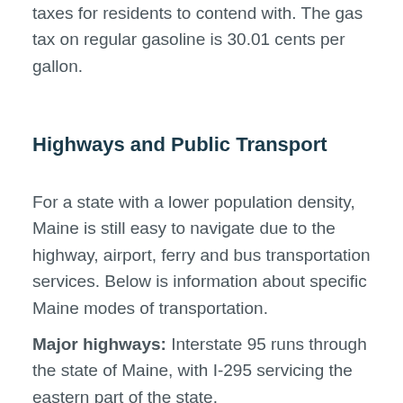taxes for residents to contend with. The gas tax on regular gasoline is 30.01 cents per gallon.
Highways and Public Transport
For a state with a lower population density, Maine is still easy to navigate due to the highway, airport, ferry and bus transportation services. Below is information about specific Maine modes of transportation.
Major highways: Interstate 95 runs through the state of Maine, with I-295 servicing the eastern part of the state.